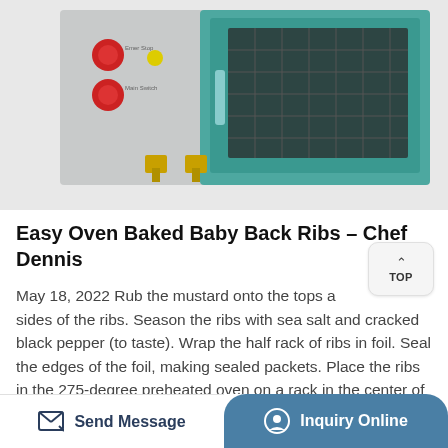[Figure (photo): Industrial oven or scientific chamber with teal/blue door and glass window, grey body with red and yellow control buttons on the left panel, and brass/gold fittings at the bottom]
Easy Oven Baked Baby Back Ribs - Chef Dennis
May 18, 2022 Rub the mustard onto the tops and sides of the ribs. Season the ribs with sea salt and cracked black pepper (to taste). Wrap the half rack of ribs in foil. Seal the edges of the foil, making sealed packets. Place the ribs in the 275-degree preheated oven on a rack in the center of the oven. Cook the ribs for 2 hours.
Send Message | Inquiry Online